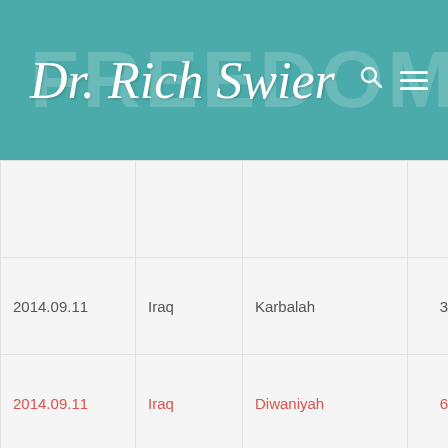Dr. Rich Swier
|  |  |  |  |  |
| 2014.09.11 | Iraq | Karbalah | 3 | 12 |
| 2014.09.11 | Iraq | Diwaniyah | 6 | 16 |